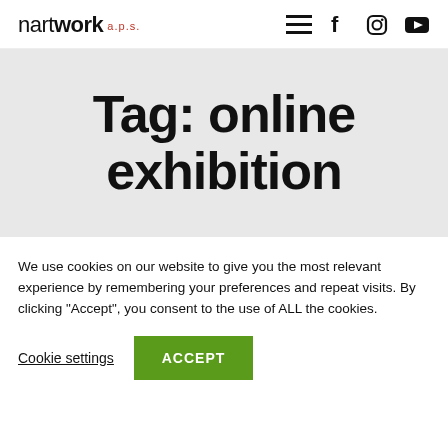nartwork a.p.s. [logo with hamburger menu, Facebook, Instagram, YouTube icons]
Tag: online exhibition
We use cookies on our website to give you the most relevant experience by remembering your preferences and repeat visits. By clicking “Accept”, you consent to the use of ALL the cookies.
Cookie settings  ACCEPT